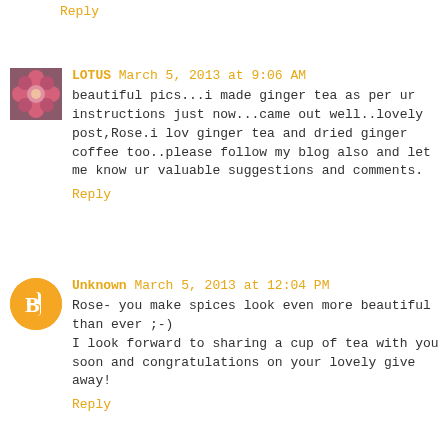Reply
LOTUS March 5, 2013 at 9:06 AM
beautiful pics...i made ginger tea as per ur instructions just now...came out well..lovely post,Rose.i lov ginger tea and dried ginger coffee too..please follow my blog also and let me know ur valuable suggestions and comments.
Reply
Unknown March 5, 2013 at 12:04 PM
Rose- you make spices look even more beautiful than ever ;-)
I look forward to sharing a cup of tea with you soon and congratulations on your lovely give away!
Reply